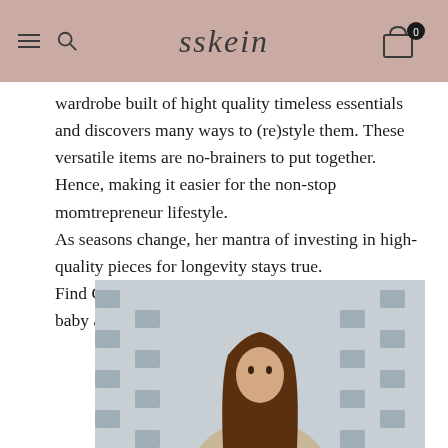sskein
wardrobe built of hight quality timeless essentials and discovers many ways to (re)style them. These versatile items are no-brainers to put together. Hence, making it easier for the non-stop momtrepreneur lifestyle.
As seasons change, her mantra of investing in high-quality pieces for longevity stays true.
Find Cortney's favorite winter pieces from our latest baby alpaca collection.
[Figure (photo): Photo of a woman with long brown hair against a patterned background]